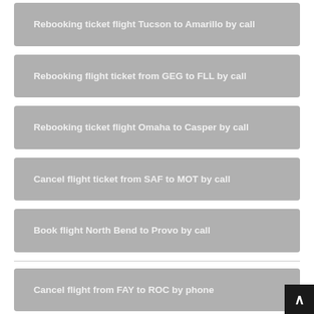Rebooking ticket flight Tucson to Amarillo by call
Rebooking flight ticket from GEG to FLL by call
Rebooking ticket flight Omaha to Casper by call
Cancel flight ticket from SAF to MOT by call
Book flight North Bend to Provo by call
Cancel flight from FAY to ROC by phone
Cancel ticket flight Omaha to ...